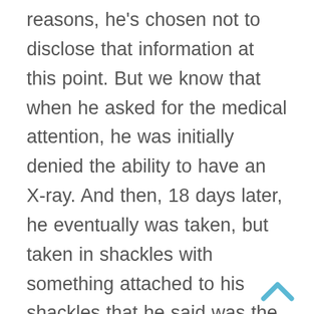reasons, he's chosen not to disclose that information at this point. But we know that when he asked for the medical attention, he was initially denied the ability to have an X-ray. And then, 18 days later, he eventually was taken, but taken in shackles with something attached to his shackles that he said was the size of a hard drive, so that he could not pick a lock and get out of his shackles. And he was loaded into a vehicle, taken to a place nearby. And this is important for people to understand that when the Bureau of Prisons made a deal for him to go to